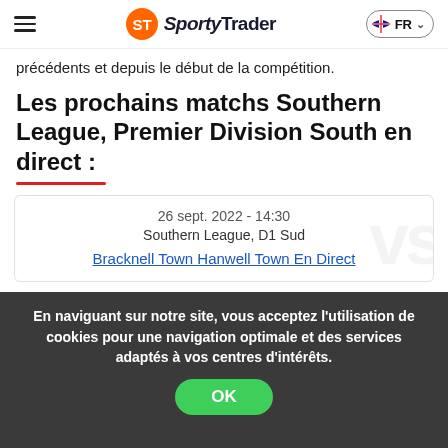SportyTrader — FR
précédents et depuis le début de la compétition.
Les prochains matchs Southern League, Premier Division South en direct :
| 26 sept. 2022 - 14:30 |
| Southern League, D1 Sud |
| Bracknell Town Hanwell Town En Direct |
En naviguant sur notre site, vous acceptez l'utilisation de cookies pour une navigation optimale et des services adaptés à vos centres d'intérêts.
OK